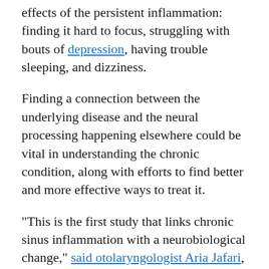effects of the persistent inflammation: finding it hard to focus, struggling with bouts of depression, having trouble sleeping, and dizziness.
Finding a connection between the underlying disease and the neural processing happening elsewhere could be vital in understanding the chronic condition, along with efforts to find better and more effective ways to treat it.
"This is the first study that links chronic sinus inflammation with a neurobiological change," said otolaryngologist Aria Jafari, from the University of Washington; the team's paper was published in April 2021.
"We know from previous studies that patients